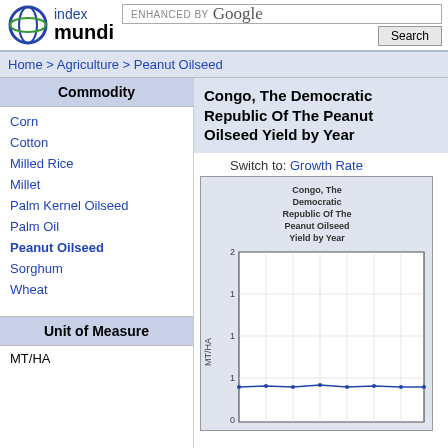[Figure (logo): Index Mundi logo with circular globe icon and search bar with Google]
Home > Agriculture > Peanut Oilseed
Commodity
Corn
Cotton
Milled Rice
Millet
Palm Kernel Oilseed
Palm Oil
Peanut Oilseed
Sorghum
Wheat
Unit of Measure
MT/HA
Congo, The Democratic Republic Of The Peanut Oilseed Yield by Year
Switch to: Growth Rate
[Figure (continuous-plot): Line chart showing Congo, The Democratic Republic Of The Peanut Oilseed Yield by Year. Y-axis labeled MT/HA with values 0 to 2. The data line appears nearly flat around 0.5 MT/HA across all years.]